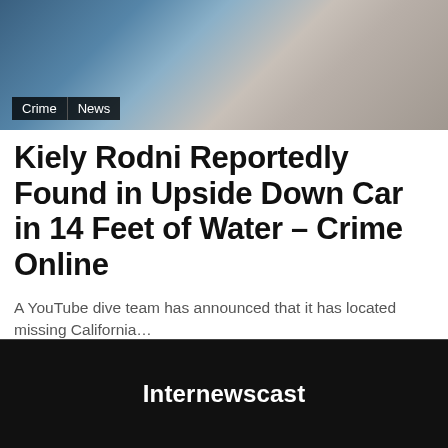[Figure (photo): Photo of a person in a gray sleeveless top sitting outdoors, partially cropped, with blue background elements]
Crime | News
Kiely Rodni Reportedly Found in Upside Down Car in 14 Feet of Water – Crime Online
A YouTube dive team has announced that it has located missing California…
Internewscast · May 17, 2022
Internewscast